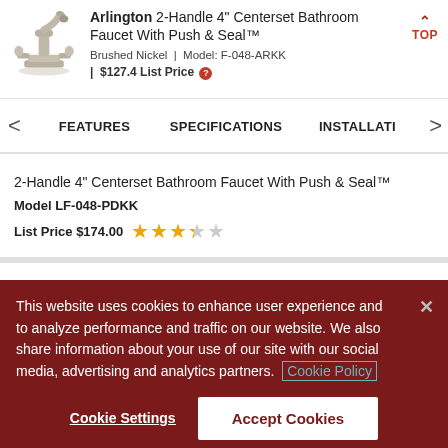[Figure (illustration): Brushed nickel centerset bathroom faucet product photo]
Arlington 2-Handle 4" Centerset Bathroom Faucet With Push & Seal™ Brushed Nickel | Model: F-048-ARKK | $127.4 List Price
FEATURES
SPECIFICATIONS
INSTALLATION
2-Handle 4" Centerset Bathroom Faucet With Push & Seal™
Model LF-048-PDKK
List Price $174.00
This website uses cookies to enhance user experience and to analyze performance and traffic on our website. We also share information about your use of our site with our social media, advertising and analytics partners. Cookie Policy
Cookie Settings
Accept Cookies